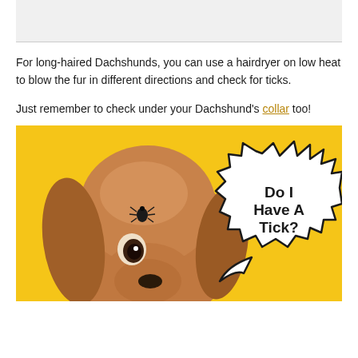[Figure (photo): Top portion of a photo (cropped, partially visible at top of page) showing a Dachshund dog on a yellow background.]
For long-haired Dachshunds, you can use a hairdryer on low heat to blow the fur in different directions and check for ticks.
Just remember to check under your Dachshund's collar too!
[Figure (photo): A brown Dachshund dog with a tick on its forehead, on a yellow background, with a comic speech bubble saying 'Do I Have A Tick?']